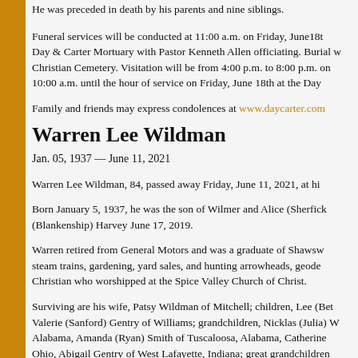He was preceded in death by his parents and nine siblings.
Funeral services will be conducted at 11:00 a.m. on Friday, June18th at the Day & Carter Mortuary with Pastor Kenneth Allen officiating. Burial w... Christian Cemetery. Visitation will be from 4:00 p.m. to 8:00 p.m. on... 10:00 a.m. until the hour of service on Friday, June 18th at the Day...
Family and friends may express condolences at www.daycarter.com
Warren Lee Wildman
Jan. 05, 1937 — June 11, 2021
Warren Lee Wildman, 84, passed away Friday, June 11, 2021, at hi...
Born January 5, 1937, he was the son of Wilmer and Alice (Sherfick...) (Blankenship) Harvey June 17, 2019.
Warren retired from General Motors and was a graduate of Shawsw... steam trains, gardening, yard sales, and hunting arrowheads, geode... Christian who worshipped at the Spice Valley Church of Christ.
Surviving are his wife, Patsy Wildman of Mitchell; children, Lee (Bet... Valerie (Sanford) Gentry of Williams; grandchildren, Nicklas (Julia) W... Alabama, Amanda (Ryan) Smith of Tuscaloosa, Alabama, Catherine... Ohio, Abigail Gentry of West Lafayette, Indiana; great grandchildren... Trinley Wildman, Carolina Smith, and Robert and Phillip Greenwood... Beech Grove, Lesley Wildman of Trinity Springs.